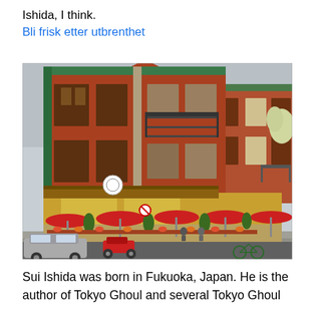Ishida, I think.
Bli frisk etter utbrenthet
[Figure (photo): A red brick corner building with multiple floors, featuring a restaurant or cafe with a large outdoor patio area. The patio has many red umbrellas and flower boxes. A scooter and a car are parked on the street in front.]
Sui Ishida was born in Fukuoka, Japan. He is the author of Tokyo Ghoul and several Tokyo Ghoul